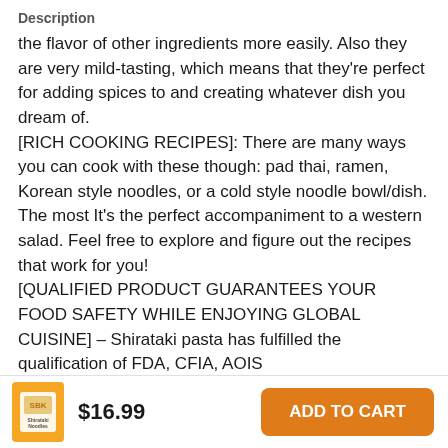Description
the flavor of other ingredients more easily. Also they are very mild-tasting, which means that they're perfect for adding spices to and creating whatever dish you dream of.
[RICH COOKING RECIPES]: There are many ways you can cook with these though: pad thai, ramen, Korean style noodles, or a cold style noodle bowl/dish. The most It's the perfect accompaniment to a western salad. Feel free to explore and figure out the recipes that work for you!
[QUALIFIED PRODUCT GUARANTEES YOUR FOOD SAFETY WHILE ENJOYING GLOBAL CUISINE] – Shirataki pasta has fulfilled the qualification of FDA, CFIA, AOIS
[Figure (other): Product thumbnail image of shirataki pasta package]
$16.99
ADD TO CART